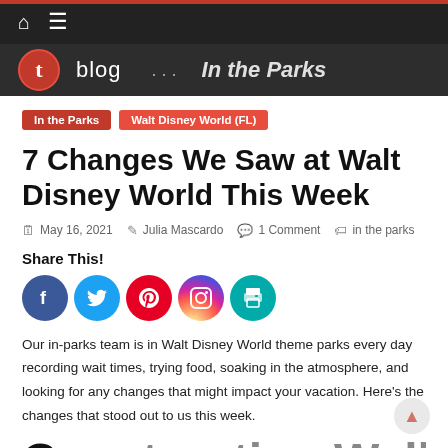blog ... In the Parks
In the Parks | Walt Disney World (FL)
7 Changes We Saw at Walt Disney World This Week
May 16, 2021  Julia Mascardo  1 Comment  in the parks
Share This!
[Figure (infographic): Social media share icons: Facebook, Twitter, Pinterest, Instagram, Print]
Our in-parks team is in Walt Disney World theme parks every day recording wait times, trying food, soaking in the atmosphere, and looking for any changes that might impact your vacation. Here's the changes that stood out to us this week.
Construction Walls